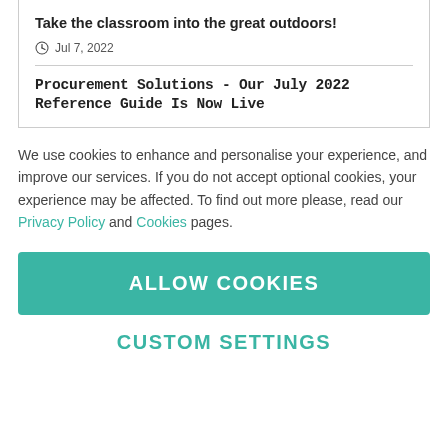Take the classroom into the great outdoors!
Jul 7, 2022
Procurement Solutions - Our July 2022 Reference Guide Is Now Live
We use cookies to enhance and personalise your experience, and improve our services. If you do not accept optional cookies, your experience may be affected. To find out more please, read our Privacy Policy and Cookies pages.
ALLOW COOKIES
CUSTOM SETTINGS